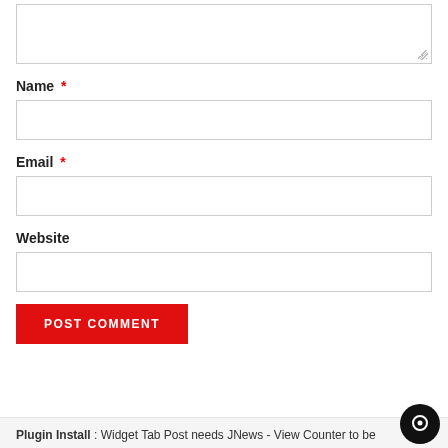[Figure (screenshot): Textarea input box (comment field) with resize handle at bottom-right]
Name *
[Figure (screenshot): Name text input field (empty)]
Email *
[Figure (screenshot): Email text input field (empty)]
Website
[Figure (screenshot): Website text input field (empty)]
POST COMMENT
Plugin Install : Widget Tab Post needs JNews - View Counter to be